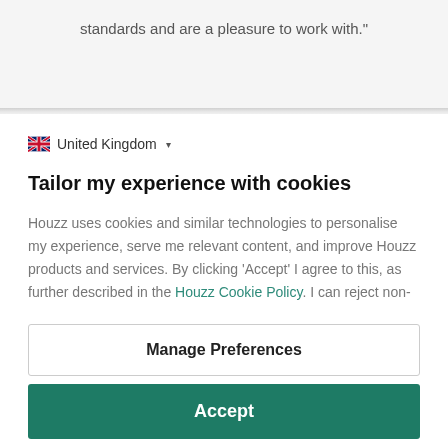standards and are a pleasure to work with.”
United Kingdom
Tailor my experience with cookies
Houzz uses cookies and similar technologies to personalise my experience, serve me relevant content, and improve Houzz products and services. By clicking ‘Accept’ I agree to this, as further described in the Houzz Cookie Policy. I can reject non-
Manage Preferences
Accept